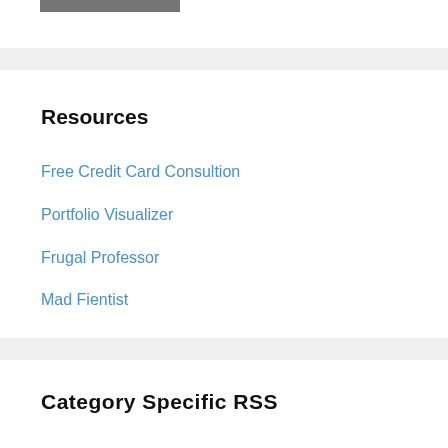[Figure (logo): Dark gray rectangular logo/image placeholder in top-left area]
Resources
Free Credit Card Consultion
Portfolio Visualizer
Frugal Professor
Mad Fientist
Category Specific RSS